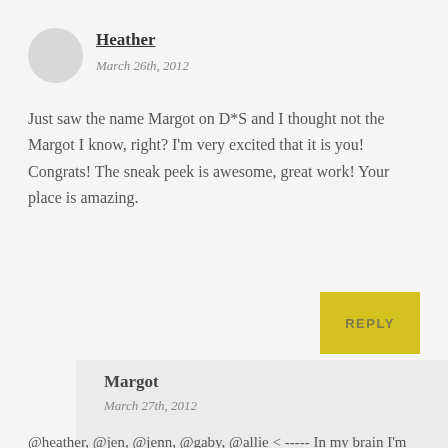Heather
March 26th, 2012
Just saw the name Margot on D*S and I thought not the Margot I know, right? I'm very excited that it is you! Congrats! The sneak peek is awesome, great work! Your place is amazing.
REPLY
Margot
March 27th, 2012
@heather, @jen, @jenn, @gaby, @allie < ----- In my brain I'm currently having all y'all over for treats & drinks. It's a blast, I promise. Thanks so much for your kind words. 🙂